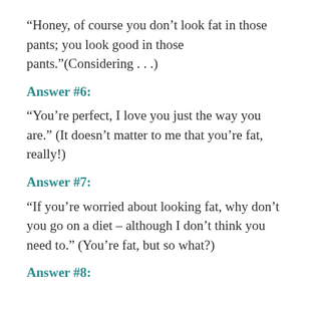“Honey, of course you don’t look fat in those pants; you look good in those pants.”(Considering . . .)
Answer #6:
“You’re perfect, I love you just the way you are.” (It doesn’t matter to me that you’re fat, really!)
Answer #7:
“If you’re worried about looking fat, why don’t you go on a diet – although I don’t think you need to.” (You’re fat, but so what?)
Answer #8: